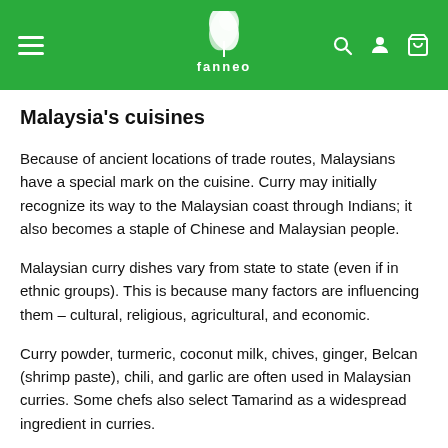[Figure (logo): Green navigation bar with hamburger menu on left, Fanneo logo (white leaf/plant icon with text) in center, and search, user, and cart icons on right]
Malaysia's cuisines
Because of ancient locations of trade routes, Malaysians have a special mark on the cuisine. Curry may initially recognize its way to the Malaysian coast through Indians; it also becomes a staple of Chinese and Malaysian people.
Malaysian curry dishes vary from state to state (even if in ethnic groups). This is because many factors are influencing them – cultural, religious, agricultural, and economic.
Curry powder, turmeric, coconut milk, chives, ginger, Belcan (shrimp paste), chili, and garlic are often used in Malaysian curries. Some chefs also select Tamarind as a widespread ingredient in curries.
Rendang is a good example of curry in Malaysia, Singapore, and Indonesia. Although it is drier than the usual curry in Malaysia, a lot of people love this curry dish with meat and